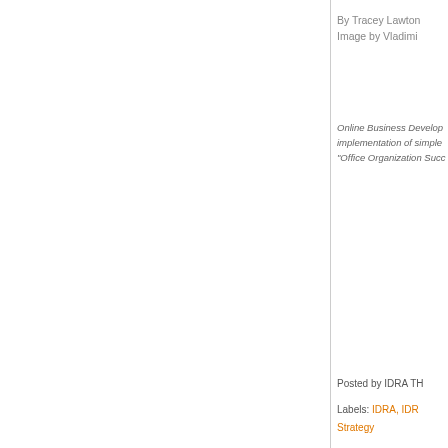By Tracey Lawton
Image by Vladimir
Online Business Develop
implementation of simple
"Office Organization Suc
Posted by IDRA TH
Labels: IDRA, IDR
Strategy